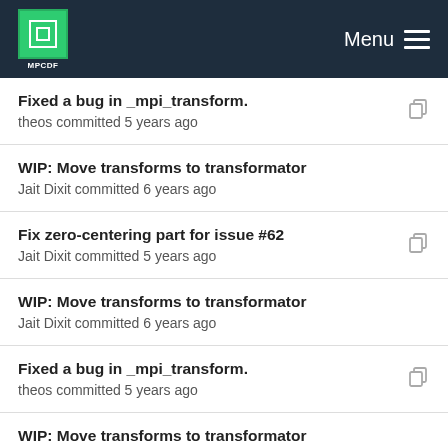MPCDF Menu
Fixed a bug in _mpi_transform.
theos committed 5 years ago
WIP: Move transforms to transformator
Jait Dixit committed 6 years ago
Fix zero-centering part for issue #62
Jait Dixit committed 5 years ago
WIP: Move transforms to transformator
Jait Dixit committed 6 years ago
Fixed a bug in _mpi_transform.
theos committed 5 years ago
WIP: Move transforms to transformator
Jait Dixit committed 6 years ago